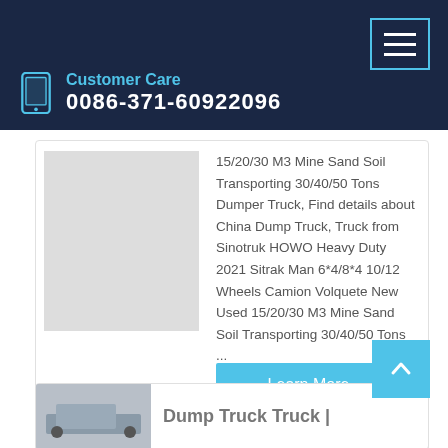Customer Care 0086-371-60922096
15/20/30 M3 Mine Sand Soil Transporting 30/40/50 Tons Dumper Truck, Find details about China Dump Truck, Truck from Sinotruk HOWO Heavy Duty 2021 Sitrak Man 6*4/8*4 10/12 Wheels Camion Volquete New Used 15/20/30 M3 Mine Sand Soil Transporting 30/40/50 Tons ...
Learn More
Dump Truck Truck |